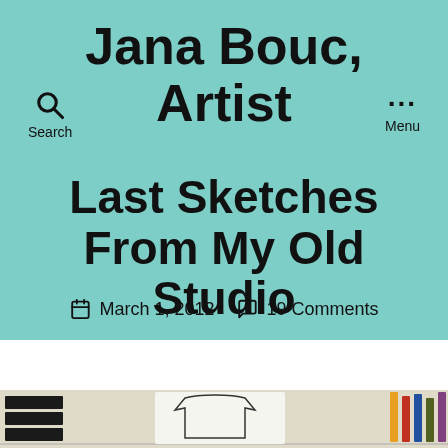Jana Bouc, Artist
Search
... Menu
Last Sketches From My Old Studio
March 1, 2012   19 Comments
[Figure (illustration): Sketch illustration showing binders/books on left, a white shirt or garment figure in center, and pencils/art supplies on right, against a neutral background]